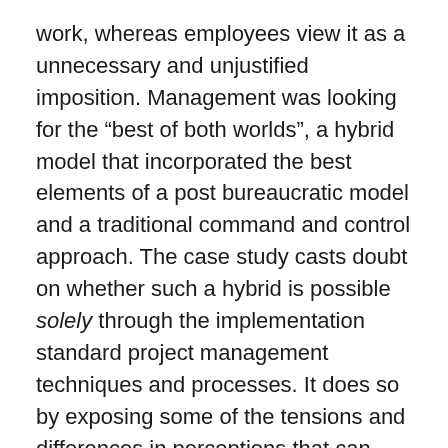work, whereas employees view it as a unnecessary and unjustified imposition. Management was looking for the “best of both worlds”, a hybrid model that incorporated the best elements of a post bureaucratic model and a traditional command and control approach. The case study casts doubt on whether such a hybrid is possible solely through the implementation standard project management techniques and processes. It does so by exposing some of the tensions and differences in perceptions that can occur when such a model is implemented.
So where does this leave managers? Is there a way to manage creative work without destroying employee morale and motivation?
Looking over the complaints of the Buzzbank employees, it is clear that most of the problems arose from the loss of